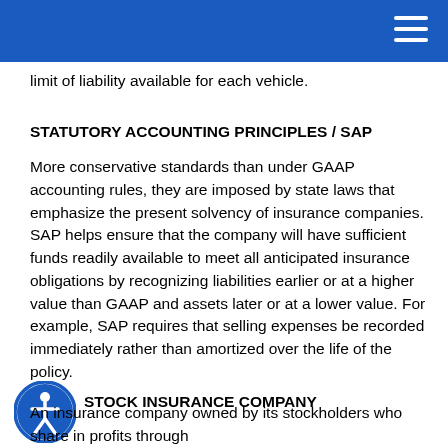limit of liability available for each vehicle.
STATUTORY ACCOUNTING PRINCIPLES / SAP
More conservative standards than under GAAP accounting rules, they are imposed by state laws that emphasize the present solvency of insurance companies. SAP helps ensure that the company will have sufficient funds readily available to meet all anticipated insurance obligations by recognizing liabilities earlier or at a higher value than GAAP and assets later or at a lower value. For example, SAP requires that selling expenses be recorded immediately rather than amortized over the life of the policy.
STOCK INSURANCE COMPANY
An insurance company owned by its stockholders who share in profits through